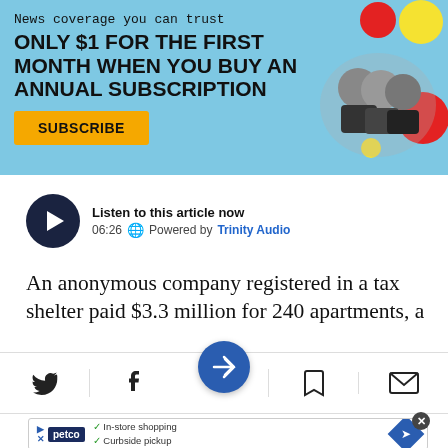[Figure (infographic): Subscription advertisement banner with light blue background. Text reads 'News coverage you can trust' then 'ONLY $1 FOR THE FIRST MONTH WHEN YOU BUY AN ANNUAL SUBSCRIPTION' with an orange SUBSCRIBE button. Right side shows decorative colored circles (red, yellow) and a black-and-white photo of three political figures.]
Listen to this article now
06:26    Powered by Trinity Audio
An anonymous company registered in a tax shelter paid $3.3 million for 240 apartments, a
[Figure (infographic): Social sharing toolbar with Twitter bird icon, Facebook f icon, a central circular blue button with a right-pointing arrow/navigation icon, a bookmark icon, and an email/envelope icon. A dividing horizontal line runs across.]
[Figure (infographic): Bottom advertisement for Petco showing the Petco logo, checkmarks for 'In-store shopping' and 'Curbside pickup', a blue diamond navigation icon, and a close X button.]